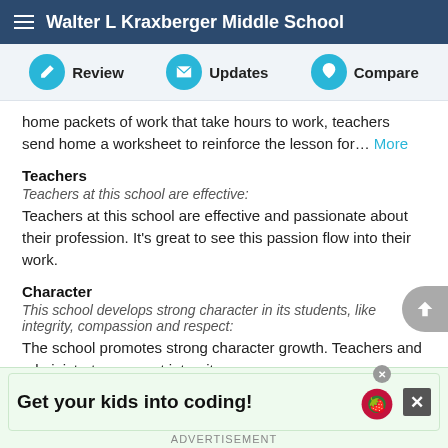Walter L Kraxberger Middle School
Review  Updates  Compare
home packets of work that take hours to work, teachers send home a worksheet to reinforce the lesson for… More
Teachers
Teachers at this school are effective:
Teachers at this school are effective and passionate about their profession. It's great to see this passion flow into their work.
Character
This school develops strong character in its students, like integrity, compassion and respect:
The school promotes strong character growth. Teachers and administrators expect integrity,
Get your kids into coding!
ADVERTISEMENT